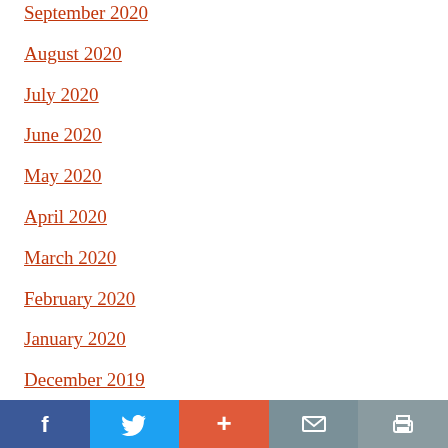September 2020
August 2020
July 2020
June 2020
May 2020
April 2020
March 2020
February 2020
January 2020
December 2019
f  Twitter  +  mail  print